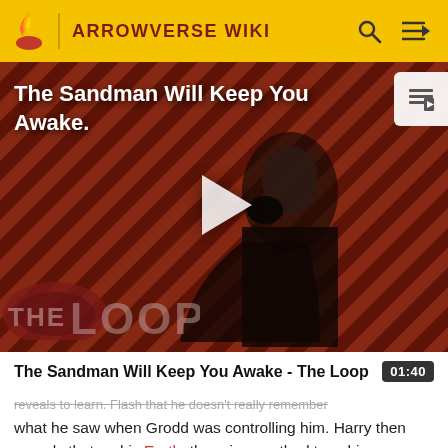ARROWVERSE WIKI
[Figure (screenshot): Video thumbnail showing a figure in black costume against a red and black diagonal striped background. Text overlay reads 'The Sandman Will Keep You Awake.' with a play button in the center and THE LOOP watermark at the bottom left.]
The Sandman Will Keep You Awake - The Loop
reveals to learn. Flash that he doesn't really remember what he saw when Grodd was controlling him. Harry then reveals that on his Earth, there is a method to achieve memory recovery. Joe agrees to attempt the process. A